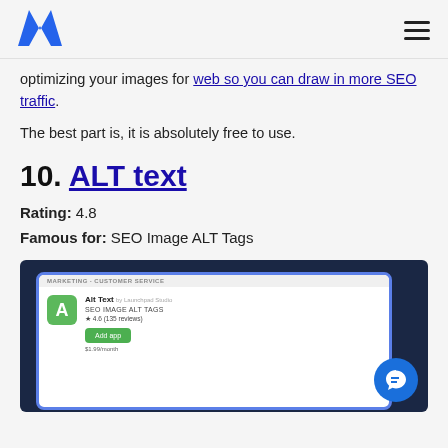Logo and navigation
optimizing your images for web so you can draw in more SEO traffic.
The best part is, it is absolutely free to use.
10. ALT text
Rating: 4.8
Famous for: SEO Image ALT Tags
[Figure (screenshot): Screenshot of ALT Text app listing showing app icon, name, description 'SEO Image ALT TAGS', rating 4.6 (135 reviews), Add app button, and price $1.99/month, on dark blue background with chat widget]